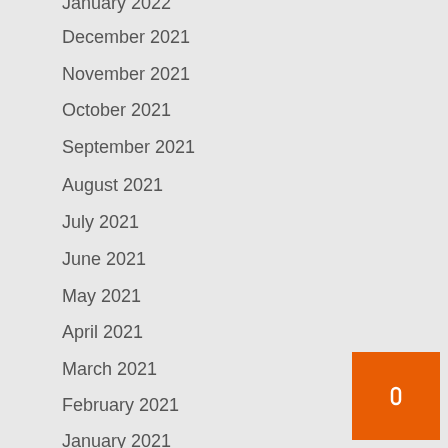January 2022
December 2021
November 2021
October 2021
September 2021
August 2021
July 2021
June 2021
May 2021
April 2021
March 2021
February 2021
January 2021